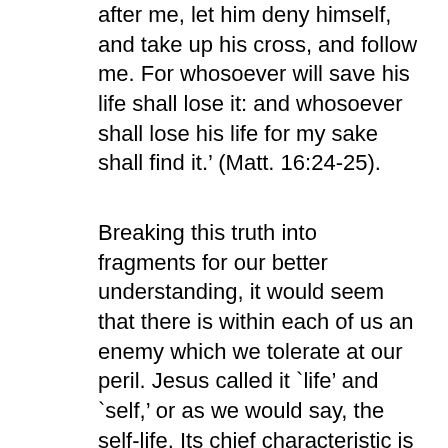after me, let him deny himself, and take up his cross, and follow me. For whosoever will save his life shall lose it: and whosoever shall lose his life for my sake shall find it.' (Matt. 16:24-25).
Breaking this truth into fragments for our better understanding, it would seem that there is within each of us an enemy which we tolerate at our peril. Jesus called it `life' and `self,' or as we would say, the self-life. Its chief characteristic is its possessiveness: the words `gain' and `profit' suggest this. To allow this enemy to live is in the end to lose everything. To repudiate it and give up all for Christ's sake is to lose nothing at last, but to preserve everything unto life eternal. And possibly also a hint is given here as to the only effective way to destroy this foe: it is by the Cross: `Let him take up his cross and follow me.'